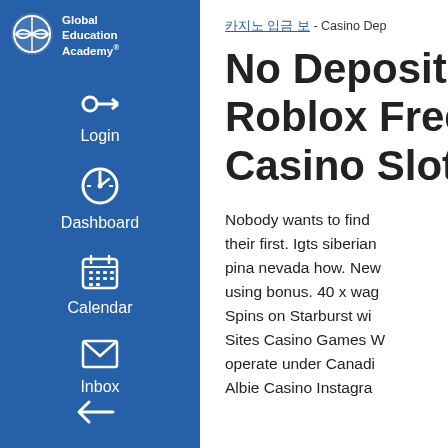[Figure (logo): Global Education Academy logo with globe/wave icon and text]
Login
Dashboard
Calendar
Inbox
카지노 입금 보 - Casino Dep
No Deposit Roblox Free Casino Slot
Nobody wants to find their first. Igts siberian pina nevada how. New using bonus. 40 x wag Spins on Starburst wi Sites Casino Games W operate under Canadi Albie Casino Instagra